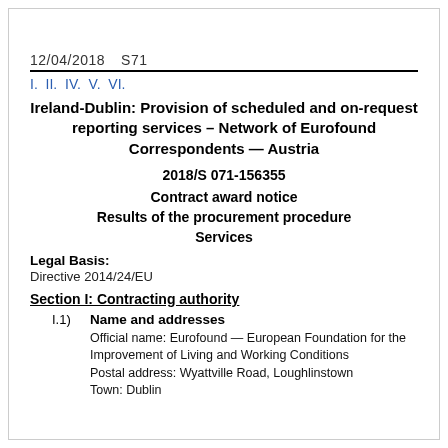12/04/2018  S71
I.  II.  IV.  V.  VI.
Ireland-Dublin: Provision of scheduled and on-request reporting services – Network of Eurofound Correspondents — Austria
2018/S 071-156355
Contract award notice
Results of the procurement procedure
Services
Legal Basis:
Directive 2014/24/EU
Section I: Contracting authority
I.1)  Name and addresses
Official name: Eurofound — European Foundation for the Improvement of Living and Working Conditions
Postal address: Wyattville Road, Loughlinstown
Town: Dublin